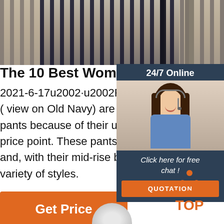[Figure (photo): Photo strip at top showing clothing rack with dark pants/garments hanging]
The 10 Best Women's Dress Pan...
2021-6-17u2002·u2002Final Verdict. Old ( view on Old Navy) are the best overall w pants because of their universal appeal a price point. These pants are made of 97 p and, with their mid-rise bootcut design, th variety of styles.
[Figure (infographic): 24/7 Online chat widget with woman wearing headset, 'Click here for free chat!' text, and orange QUOTATION button]
Get Price
[Figure (logo): TOP logo with orange dots arranged in triangle above orange text 'TOP']
[Figure (photo): Partial circular object visible at very bottom center of page]